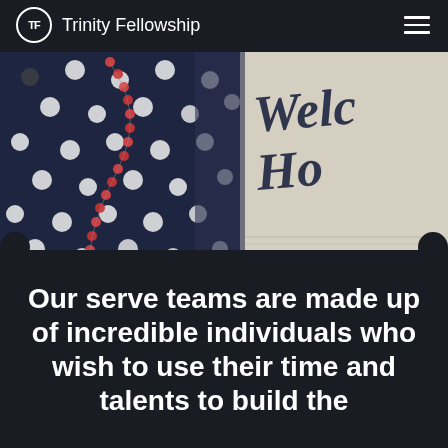Trinity Fellowship
[Figure (photo): A person wearing a navy blue polka dot dress with a red bead necklace on the left side, and a sign with cursive lettering 'Welcome Home' partially visible on the right side.]
Our serve teams are made up of incredible individuals who wish to use their time and talents to build the